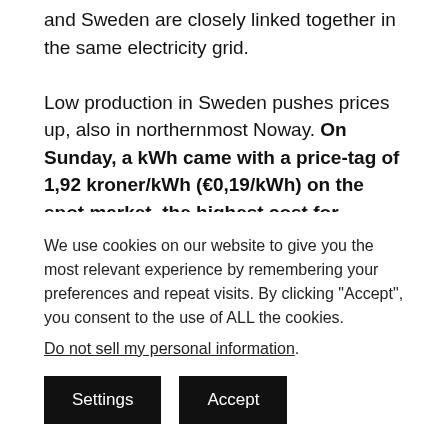and Sweden are closely linked together in the same electricity grid.

Low production in Sweden pushes prices up, also in northernmost Noway. On Sunday, a kWh came with a price-tag of 1,92 kroner/kWh (€0,19/kWh) on the spot market, the highest cost for electricity inside the Arctic Circle since 2010. Current prices are up to 10 times higher compared to the average daily
We use cookies on our website to give you the most relevant experience by remembering your preferences and repeat visits. By clicking "Accept", you consent to the use of ALL the cookies.
Do not sell my personal information.